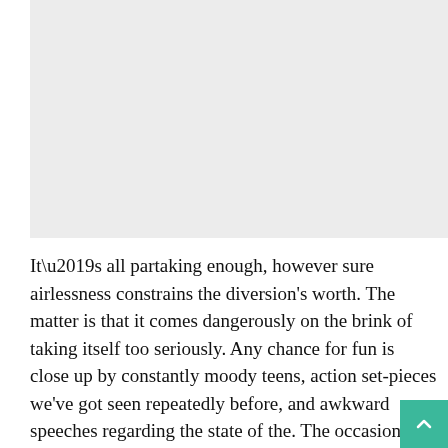[Figure (photo): A light gray rectangular image placeholder occupying the top portion of the page.]
It’s all partaking enough, however sure airlessness constrains the diversion's worth. The matter is that it comes dangerously on the brink of taking itself too seriously. Any chance for fun is close up by constantly moody teens, action set-pieces we've got seen repeatedly before, and awkward speeches regarding the state of the. The occasional blithesome moment wouldn't negate the show’s sincerity.